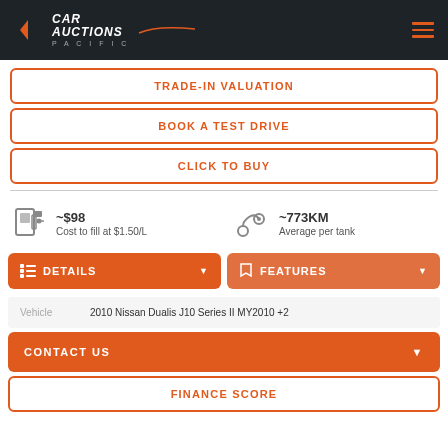Car Auctions Pacific
TRADE-IN VALUATION
BOOK A TEST DRIVE
CLICK TO BUY
~$98
Cost to fill at $1.50/L
~773KM
Average per tank
DETAILS
FEATURES
| Vehicle |
| --- |
| 2010 Nissan Dualis J10 Series II MY2010 +2 |
CONTACT US
FINANCE SCORE